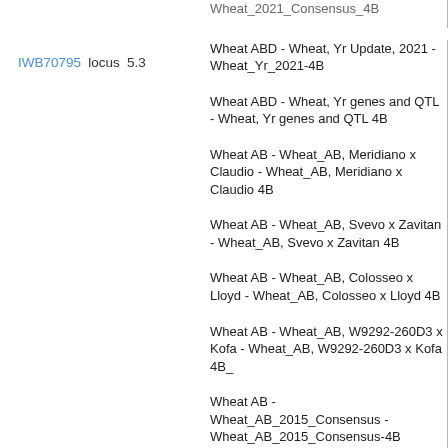Wheat_2021_Consensus_4B
IWB70795   locus   5.3
Wheat ABD - Wheat, Yr Update, 2021 - Wheat_Yr_2021-4B
Wheat ABD - Wheat, Yr genes and QTL - Wheat, Yr genes and QTL 4B
Wheat AB - Wheat_AB, Meridiano x Claudio - Wheat_AB, Meridiano x Claudio 4B
Wheat AB - Wheat_AB, Svevo x Zavitan - Wheat_AB, Svevo x Zavitan 4B
Wheat AB - Wheat_AB, Colosseo x Lloyd - Wheat_AB, Colosseo x Lloyd 4B
Wheat AB - Wheat_AB, W9292-260D3 x Kofa - Wheat_AB, W9292-260D3 x Kofa 4B_
Wheat AB - Wheat_AB_2015_Consensus - Wheat_AB_2015_Consensus-4B
Wheat ABD - Wheat, Yr genes and QTL - Wheat, Yr genes and QTL 4B